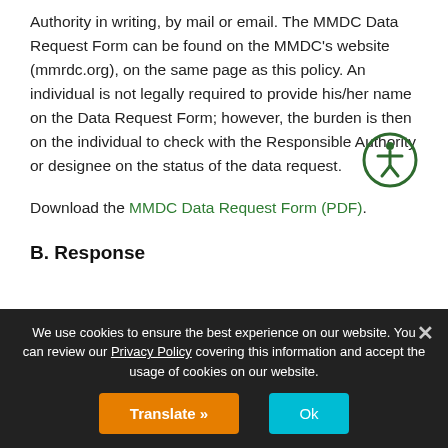Authority in writing, by mail or email. The MMDC Data Request Form can be found on the MMDC's website (mmrdc.org), on the same page as this policy. An individual is not legally required to provide his/her name on the Data Request Form; however, the burden is then on the individual to check with the Responsible Authority or designee on the status of the data request.
Download the MMDC Data Request Form (PDF).
B. Response
We use cookies to ensure the best experience on our website. You can review our Privacy Policy covering this information and accept the usage of cookies on our website.